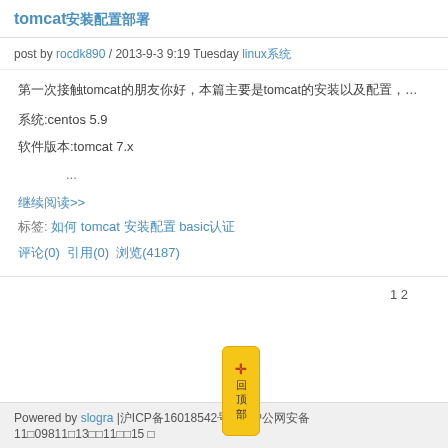tomcat安装配置部署
post by rocdk890 / 2013-9-3 9:19 Tuesday linux系统
第一次接触tomcat的朋友你好，本篇主要是tomcat的安装以及配置，最后整合apache的负载均衡，日志，磁盘挂载，缓存配置，开机启动，等等
系统:centos 5.9
软件版本:tomcat 7.x
...
继续阅读>>
标签: 如何 tomcat 安装配置 basic认证
评论(0) 引用(0) 浏览(4187)
1 2
Powered by slogra |沪ICP备16018542号-1 | 沪公网安备11□09811□13□□11□□15 □